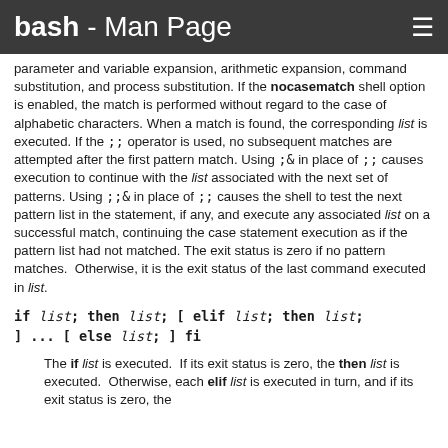bash - Man Page
parameter and variable expansion, arithmetic expansion, command substitution, and process substitution. If the nocasematch shell option is enabled, the match is performed without regard to the case of alphabetic characters. When a match is found, the corresponding list is executed. If the ;; operator is used, no subsequent matches are attempted after the first pattern match. Using ;& in place of ;; causes execution to continue with the list associated with the next set of patterns. Using ;;& in place of ;; causes the shell to test the next pattern list in the statement, if any, and execute any associated list on a successful match, continuing the case statement execution as if the pattern list had not matched. The exit status is zero if no pattern matches.  Otherwise, it is the exit status of the last command executed in list.
if list; then list; [ elif list; then list; ] ... [ else list; ] fi
The if list is executed.  If its exit status is zero, the then list is executed.  Otherwise, each elif list is executed in turn, and if its exit status is zero, the